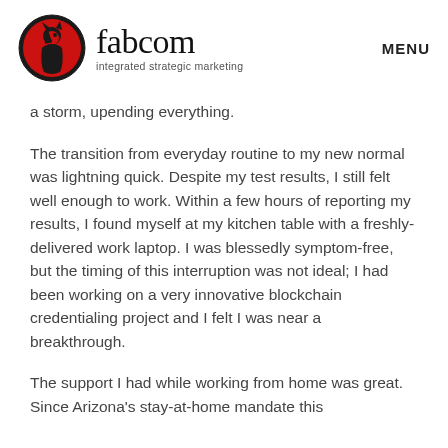fabcom integrated strategic marketing | MENU
a storm, upending everything.
The transition from everyday routine to my new normal was lightning quick. Despite my test results, I still felt well enough to work. Within a few hours of reporting my results, I found myself at my kitchen table with a freshly-delivered work laptop. I was blessedly symptom-free, but the timing of this interruption was not ideal; I had been working on a very innovative blockchain credentialing project and I felt I was near a breakthrough.
The support I had while working from home was great. Since Arizona's stay-at-home mandate this